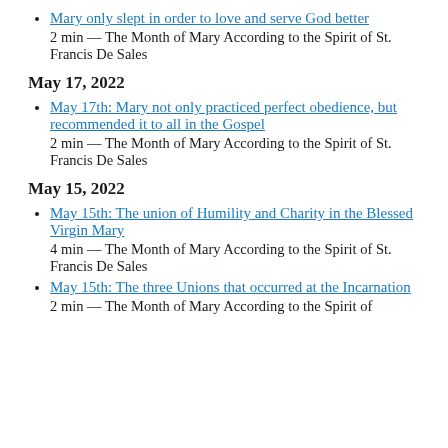Mary only slept in order to love and serve God better — 2 min — The Month of Mary According to the Spirit of St. Francis De Sales
May 17, 2022
May 17th: Mary not only practiced perfect obedience, but recommended it to all in the Gospel — 2 min — The Month of Mary According to the Spirit of St. Francis De Sales
May 15, 2022
May 15th: The union of Humility and Charity in the Blessed Virgin Mary — 4 min — The Month of Mary According to the Spirit of St. Francis De Sales
May 15th: The three Unions that occurred at the Incarnation — 2 min — The Month of Mary According to the Spirit of